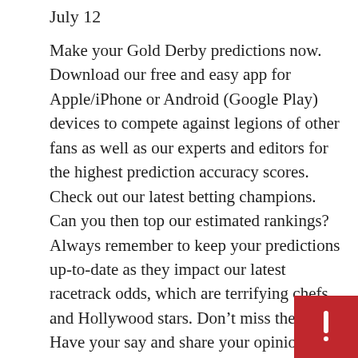July 12
Make your Gold Derby predictions now. Download our free and easy app for Apple/iPhone or Android (Google Play) devices to compete against legions of other fans as well as our experts and editors for the highest prediction accuracy scores. Check out our latest betting champions. Can you then top our estimated rankings? Always remember to keep your predictions up-to-date as they impact our latest racetrack odds, which are terrifying chefs and Hollywood stars. Don’t miss the fun. Have your say and share your opinions on our famous forums where 5,000 showbiz leaders hide out every day to follow the latest awards rumours. Everyone wants to know: what do you think? Who do you predict and why?